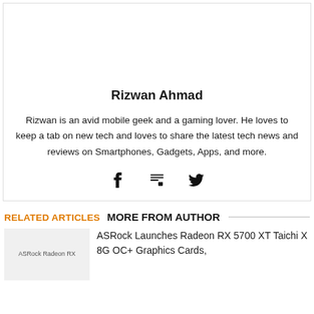Rizwan Ahmad
Rizwan is an avid mobile geek and a gaming lover. He loves to keep a tab on new tech and loves to share the latest tech news and reviews on Smartphones, Gadgets, Apps, and more.
[Figure (other): Social media icons: Facebook, Mix, Twitter]
RELATED ARTICLES MORE FROM AUTHOR
ASRock Launches Radeon RX 5700 XT Taichi X 8G OC+ Graphics Cards,